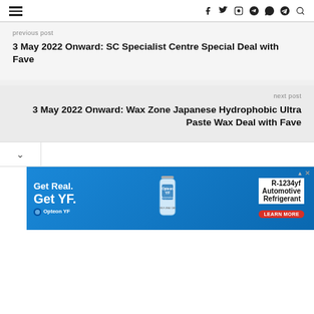Navigation bar with hamburger menu and social icons: f (Facebook), Twitter, Instagram, Pinterest, WhatsApp, Telegram, Search
previous post
3 May 2022 Onward: SC Specialist Centre Special Deal with Fave
next post
3 May 2022 Onward: Wax Zone Japanese Hydrophobic Ultra Paste Wax Deal with Fave
[Figure (screenshot): Advertisement banner for Opteon YF R-1234yf Automotive Refrigerant showing blue background, bottle image, 'Get Real. Get YF.' text, and 'LEARN MORE' button]